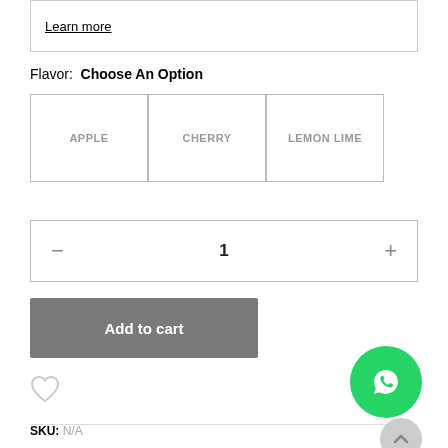Learn more
Flavor:  Choose An Option
APPLE
CHERRY
LEMON LIME
− 1 +
Add to cart
SKU: N/A
Categories: Uncategorized, Amino Acids, Amino Blend